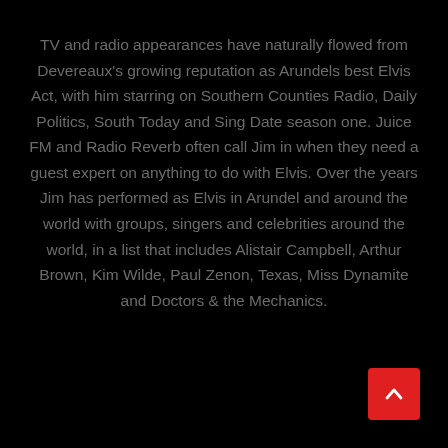TV and radio appearances have naturally flowed from Devereaux's growing reputation as Arundels best Elvis Act, with him starring on Southern Counties Radio, Daily Politics, South Today and Sing Date season one. Juice FM and Radio Reverb often call Jim in when they need a guest expert on anything to do with Elvis. Over the years Jim has performed as Elvis in Arundel and around the world with groups, singers and celebrities around the world, in a list that includes Alistair Campbell, Arthur Brown, Kim Wilde, Paul Zenon, Texas, Miss Dynamite and Doctors & the Mechanics.